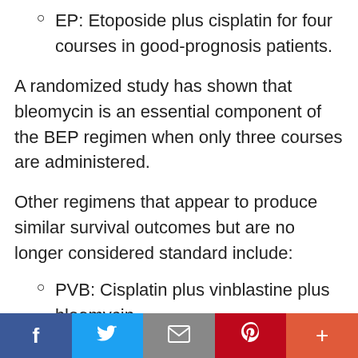EP: Etoposide plus cisplatin for four courses in good-prognosis patients.
A randomized study has shown that bleomycin is an essential component of the BEP regimen when only three courses are administered.
Other regimens that appear to produce similar survival outcomes but are no longer considered standard include:
PVB: Cisplatin plus vinblastine plus bleomycin.
f  [twitter]  [email]  [pinterest]  +